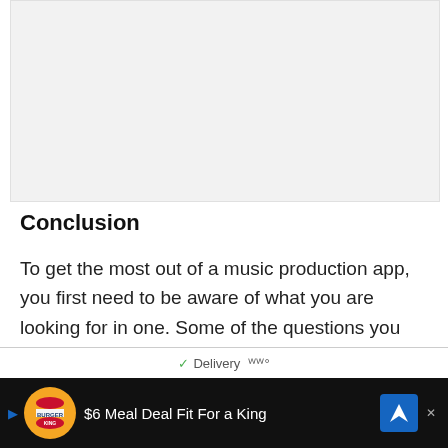[Figure (other): Gray placeholder image area at top of page]
Conclusion
To get the most out of a music production app, you first need to be aware of what you are looking for in one. Some of the questions you need to ask yourself before going for the app include:
What are the features it comes with?
[Figure (other): Advertisement bar: Burger King $6 Meal Deal Fit For a King with delivery option]